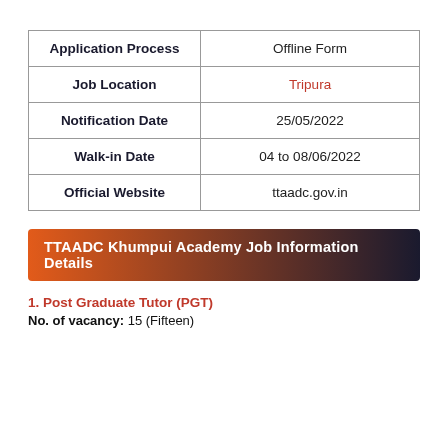| Application Process | Offline Form |
| --- | --- |
| Application Process | Offline Form |
| Job Location | Tripura |
| Notification Date | 25/05/2022 |
| Walk-in Date | 04 to 08/06/2022 |
| Official Website | ttaadc.gov.in |
TTAADC Khumpui Academy Job Information Details
1. Post Graduate Tutor (PGT)
No. of vacancy: 15 (Fifteen)